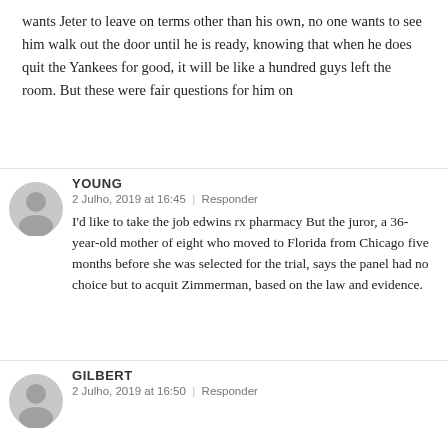wants Jeter to leave on terms other than his own, no one wants to see him walk out the door until he is ready, knowing that when he does quit the Yankees for good, it will be like a hundred guys left the room. But these were fair questions for him on
YOUNG
2 Julho, 2019 at 16:45 | Responder
I'd like to take the job edwins rx pharmacy But the juror, a 36-year-old mother of eight who moved to Florida from Chicago five months before she was selected for the trial, says the panel had no choice but to acquit Zimmerman, based on the law and evidence.
GILBERT
2 Julho, 2019 at 16:50 | Responder